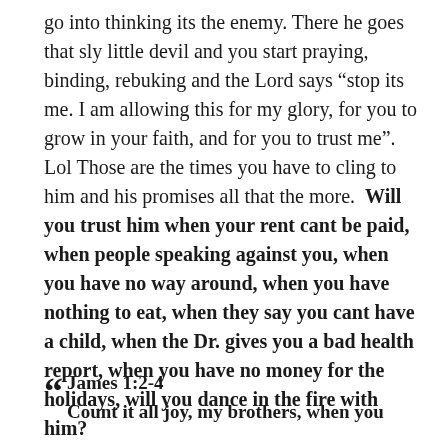go into thinking its the enemy. There he goes that sly little devil and you start praying, binding, rebuking and the Lord says “stop its me. I am allowing this for my glory, for you to grow in your faith, and for you to trust me”. Lol Those are the times you have to cling to him and his promises all that the more.  Will you trust him when your rent cant be paid, when people speaking against you, when you have no way around, when you have nothing to eat, when they say you cant have a child, when the Dr. gives you a bad health report, when you have no money for the holidays, will you dance in the fire with him?
James 1:2-4
Count it all joy, my brothers, when you